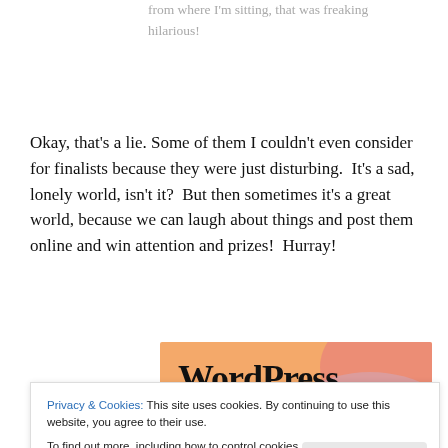from where I'm sitting, that was freaking hilarious!
Okay, that's a lie. Some of them I couldn't even consider for finalists because they were just disturbing.  It's a sad, lonely world, isn't it?  But then sometimes it's a great world, because we can laugh about things and post them online and win attention and prizes!  Hurray!
[Figure (illustration): WordPress advertisement banner with text 'WordPress in the back.' on a warm orange, peach and pink background.]
Privacy & Cookies: This site uses cookies. By continuing to use this website, you agree to their use.
To find out more, including how to control cookies, see here: Cookie Policy
Close and accept